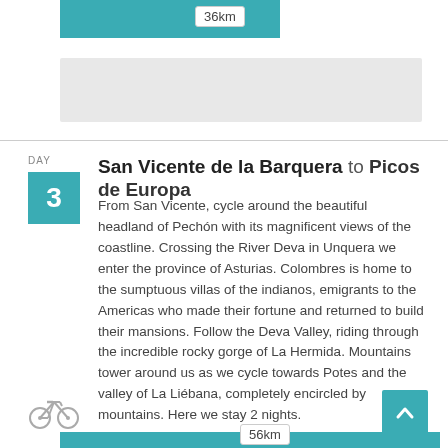[Figure (infographic): Teal distance bar showing 36km at the top of the page]
[Figure (other): Grey rectangular map or image placeholder]
DAY
San Vicente de la Barquera to Picos de Europa
From San Vicente, cycle around the beautiful headland of Pechón with its magnificent views of the coastline. Crossing the River Deva in Unquera we enter the province of Asturias. Colombres is home to the sumptuous villas of the indianos, emigrants to the Americas who made their fortune and returned to build their mansions. Follow the Deva Valley, riding through the incredible rocky gorge of La Hermida. Mountains tower around us as we cycle towards Potes and the valley of La Liébana, completely encircled by mountains. Here we stay 2 nights.
[Figure (illustration): Bicycle icon]
[Figure (infographic): Teal distance bar showing 56km at the bottom of the page]